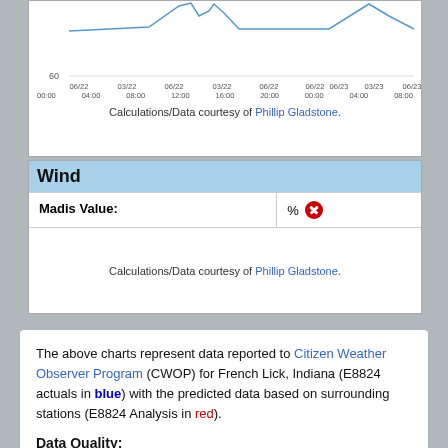[Figure (continuous-plot): Partial time-series line chart (top clipped). X-axis shows time labels from 06/22 00:00 through 06/23 08:00. Y-axis value 60 visible. Blue line with peaks visible.]
Calculations/Data courtesy of Phillip Gladstone.
Wind
|  |  |
| --- | --- |
| Madis Value: | % ✗ |
Calculations/Data courtesy of Phillip Gladstone.
The above charts represent data reported to Citizen Weather Observer Program (CWOP) for French Lick, Indiana (E8824 actuals in blue) with the predicted data based on surrounding stations (E8824 Analysis in red).
Data Quality:
The MADIS value represents the percentage of observations that have successfully passed the MADIS QC checks. If the Madis rating is within the acceptable limits, a green check ✔ will appear. Otherwise, a red x-mark ✗ will appear indicating that the data has not passed quality